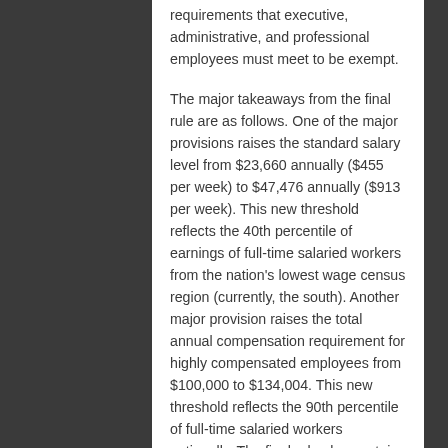requirements that executive, administrative, and professional employees must meet to be exempt.
The major takeaways from the final rule are as follows. One of the major provisions raises the standard salary level from $23,660 annually ($455 per week) to $47,476 annually ($913 per week). This new threshold reflects the 40th percentile of earnings of full-time salaried workers from the nation's lowest wage census region (currently, the south). Another major provision raises the total annual compensation requirement for highly compensated employees from $100,000 to $134,004. This new threshold reflects the 90th percentile of full-time salaried workers nationally. The final rule also contains a mechanism to automatically update those thresholds every 3 years. Further, for the first time, employers may use nondiscretionary bonuses and incentive payments (including commissions) to satisfy up to 10% of the